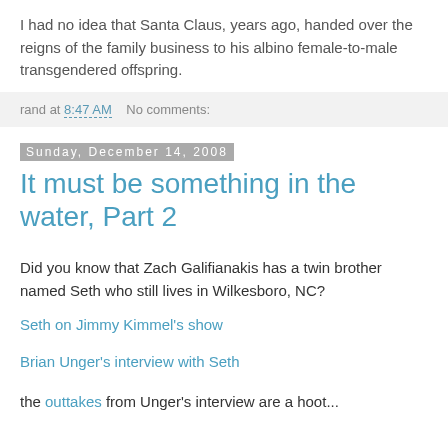I had no idea that Santa Claus, years ago, handed over the reigns of the family business to his albino female-to-male transgendered offspring.
rand at 8:47 AM    No comments:
Sunday, December 14, 2008
It must be something in the water, Part 2
Did you know that Zach Galifianakis has a twin brother named Seth who still lives in Wilkesboro, NC?
Seth on Jimmy Kimmel's show
Brian Unger's interview with Seth
the outtakes from Unger's interview are a hoot...